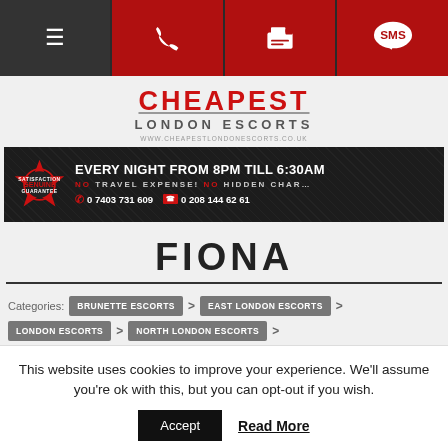Navigation bar with menu, phone, fax, and SMS icons
[Figure (logo): Cheapest London Escorts logo with red CHEAPEST text and www.cheapestlondonescorts.co.uk URL]
[Figure (infographic): Dark banner: EVERY NIGHT FROM 8PM TILL 6:30AM, NO TRAVEL EXPENSE! NO HIDDEN CHARGE, phones: 0 7403 731 609 and 0 208 144 62 61, with Genuine badge]
FIONA
Categories: BRUNETTE ESCORTS > EAST LONDON ESCORTS > LONDON ESCORTS > NORTH LONDON ESCORTS >
This website uses cookies to improve your experience. We'll assume you're ok with this, but you can opt-out if you wish.
Accept   Read More